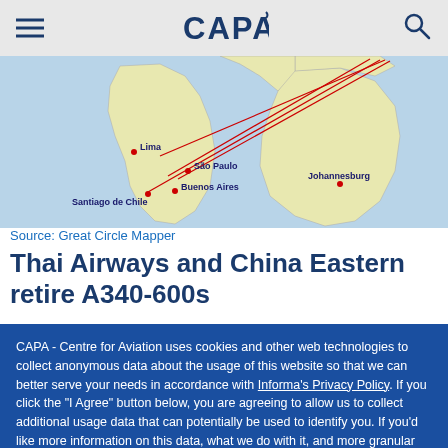CAPA
[Figure (map): World map showing flight routes with red lines connecting cities including Lima, São Paulo, Buenos Aires, Santiago de Chile, and Johannesburg]
Source: Great Circle Mapper
Thai Airways and China Eastern retire A340-600s
CAPA - Centre for Aviation uses cookies and other web technologies to collect anonymous data about the usage of this website so that we can better serve your needs in accordance with Informa's Privacy Policy. If you click the "I Agree" button below, you are agreeing to allow us to collect additional usage data that can potentially be used to identify you. If you'd like more information on this data, what we do with it, and more granular controls, please take a look at our Privacy Settings.